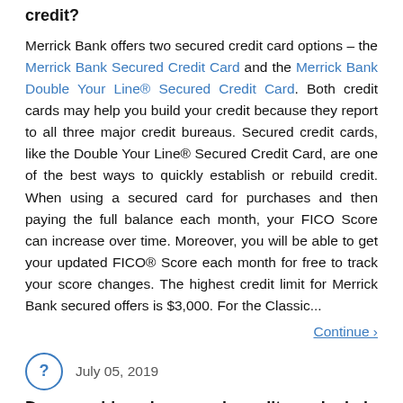Will the Merrick Bank Secured Card help me build credit?
Merrick Bank offers two secured credit card options – the Merrick Bank Secured Credit Card and the Merrick Bank Double Your Line® Secured Credit Card. Both credit cards may help you build your credit because they report to all three major credit bureaus. Secured credit cards, like the Double Your Line® Secured Credit Card, are one of the best ways to quickly establish or rebuild credit. When using a secured card for purchases and then paying the full balance each month, your FICO Score can increase over time. Moreover, you will be able to get your updated FICO® Score each month for free to track your score changes. The highest credit limit for Merrick Bank secured offers is $3,000. For the Classic...
Continue >
July 05, 2019
Do prepaid and secured credit cards help your credit? Do they get reported to the credit bureaus?
Prepaid cards do not help your credit because the activity on